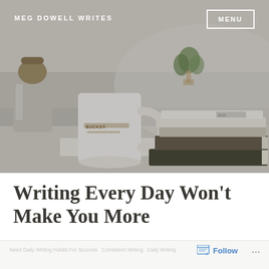[Figure (photo): Photo of a desk scene with a white Starbucks mug, stacked notebooks/journals, a glass coffee maker, and a small plant in the background. Muted, warm-toned aesthetic.]
MEG DOWELL WRITES
MENU
Writing Every Day Won't Make You More
Follow